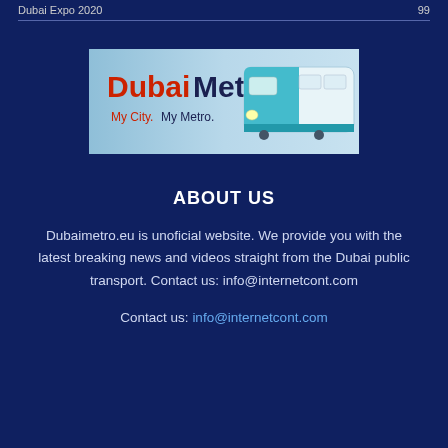Dubai Expo 2020   99
[Figure (logo): Dubai Metro logo banner with text 'Dubai Metro' and tagline 'My City. My Metro.' with an image of a metro train on the right side against a light blue background]
ABOUT US
Dubaimetro.eu is unoficial website. We provide you with the latest breaking news and videos straight from the Dubai public transport. Contact us: info@internetcont.com
Contact us: info@internetcont.com